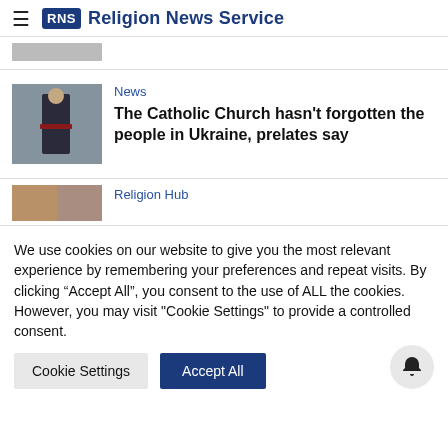RNS Religion News Service
[Figure (photo): Thumbnail photo of a priest at a gravesite in Ukraine]
News
The Catholic Church hasn’t forgotten the people in Ukraine, prelates say
[Figure (photo): Partial thumbnail photo]
Religion Hub
We use cookies on our website to give you the most relevant experience by remembering your preferences and repeat visits. By clicking “Accept All”, you consent to the use of ALL the cookies. However, you may visit "Cookie Settings" to provide a controlled consent.
Cookie Settings
Accept All